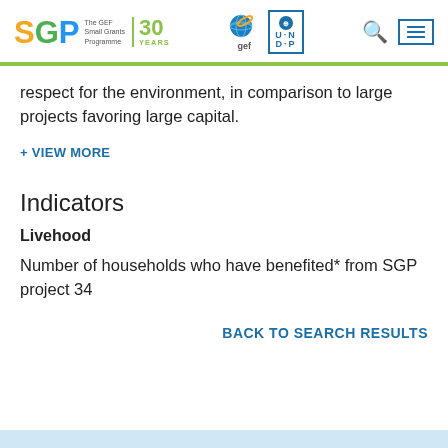SGP The GEF Small Grants Programme 30 YEARS | gef | UNDP
respect for the environment, in comparison to large projects favoring large capital.
+ VIEW MORE
Indicators
Livehood
Number of households who have benefited* from SGP project 34
BACK TO SEARCH RESULTS